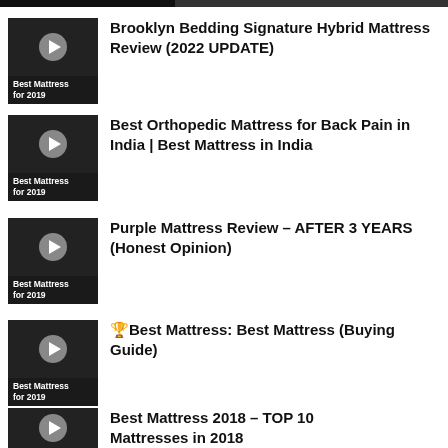Brooklyn Bedding Signature Hybrid Mattress Review (2022 UPDATE)
Best Orthopedic Mattress for Back Pain in India | Best Mattress in India
Purple Mattress Review – AFTER 3 YEARS (Honest Opinion)
🏆Best Mattress: Best Mattress (Buying Guide)
Best Mattress 2018 – TOP 10 Mattresses in 2018